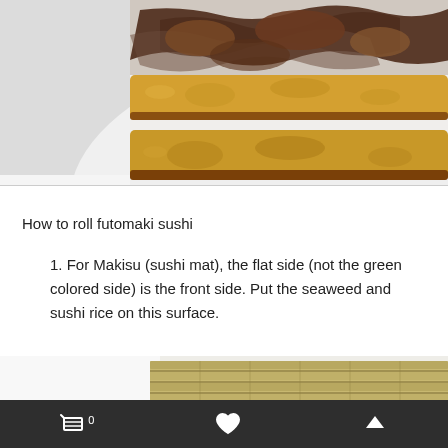[Figure (photo): Close-up photo of sliced tamagoyaki (Japanese rolled omelette) strips and dark mushrooms on a white plate]
How to roll futomaki sushi
1. For Makisu (sushi mat), the flat side (not the green colored side) is the front side. Put the seaweed and sushi rice on this surface.
[Figure (photo): Partial photo of a bamboo sushi rolling mat (Makisu) on a white surface]
Cart 0 | Favorite | Scroll to top